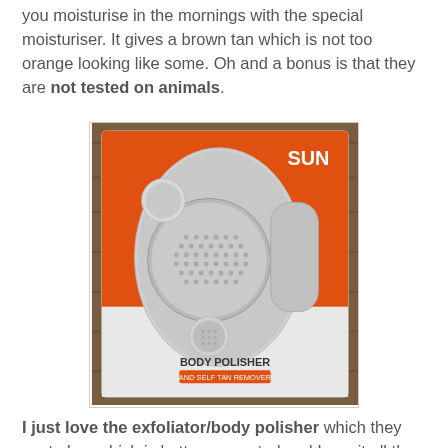you moisturise in the mornings with the special moisturiser. It gives a brown tan which is not too orange looking like some. Oh and a bonus is that they are not tested on animals.
[Figure (photo): Product photo of the SUN Body Polisher and Self Tan Remover in its orange and grey packaging, showing circular brush heads and a handle, displayed on a wooden surface.]
I just love the exfoliator/body polisher which they sent also, which is battery operated and I use it all the time in the shower and to cleanse my face in general, the first week I